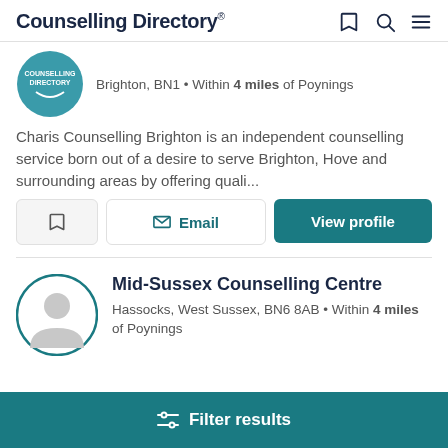Counselling Directory
Brighton, BN1 • Within 4 miles of Poynings
Charis Counselling Brighton is an independent counselling service born out of a desire to serve Brighton, Hove and surrounding areas by offering quali...
Email | View profile
Mid-Sussex Counselling Centre
Hassocks, West Sussex, BN6 8AB • Within 4 miles of Poynings
Filter results